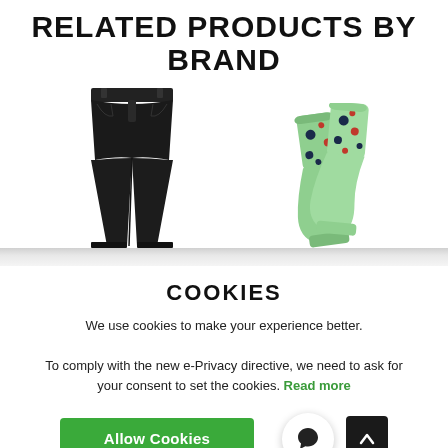RELATED PRODUCTS BY BRAND
[Figure (photo): Black skinny jeans product photo on white background]
[Figure (photo): Mint green polka dot socks product photo on white background]
COOKIES
We use cookies to make your experience better. To comply with the new e-Privacy directive, we need to ask for your consent to set the cookies. Read more
[Figure (other): Green Allow Cookies button, circular chat icon, and dark arrow up button]